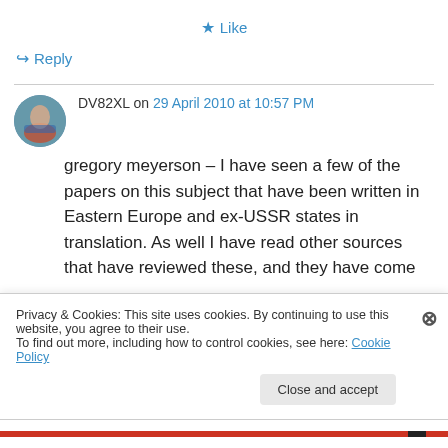★ Like
↪ Reply
DV82XL on 29 April 2010 at 10:57 PM
gregory meyerson – I have seen a few of the papers on this subject that have been written in Eastern Europe and ex-USSR states in translation. As well I have read other sources that have reviewed these, and they have come
Privacy & Cookies: This site uses cookies. By continuing to use this website, you agree to their use.
To find out more, including how to control cookies, see here: Cookie Policy
Close and accept